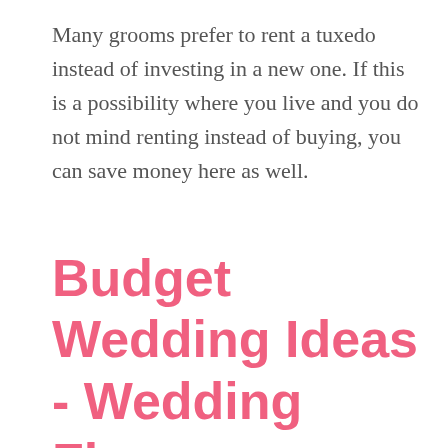Many grooms prefer to rent a tuxedo instead of investing in a new one. If this is a possibility where you live and you do not mind renting instead of buying, you can save money here as well.
Budget Wedding Ideas - Wedding Flowers